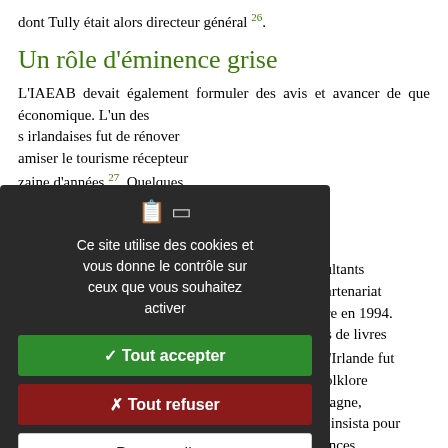dont Tully était alors directeur général 26.
Un rôle d'éminence grise
L'IAEAB devait également formuler des avis et avancer de que économique. L'un des s irlandaises fut de rénover amiser le tourisme récepteur zaine d'années 27. Quelques réfléchir à une stratégie, car ance et créer de nombreux l'une par des consultants a suite de quoi un partenariat fut mis en œuvre en 1994. aire de trois millions de livres 30. L'image de l'Irlande fut utres symboles du folklore ns ce genre de campagne, outre, l'IAEAB insista pour ée par toutes les agences
[Figure (screenshot): Cookie consent modal dialog with dark background. Contains icons, text 'Ce site utilise des cookies et vous donne le contrôle sur ceux que vous souhaitez activer', green 'Tout accepter' button, red 'Tout refuser' button, white 'Personnaliser' button, and 'Politique de confidentialité' link.]